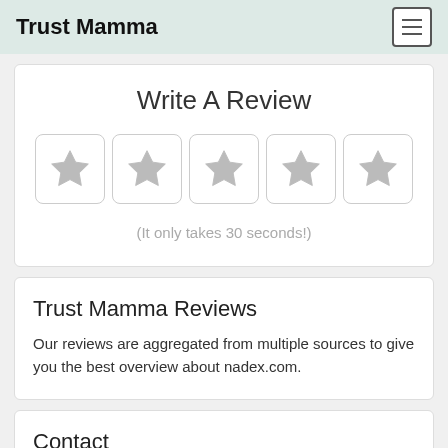Trust Mamma
Write A Review
[Figure (other): Five star rating boxes with gray star icons for user review input]
(It only takes 30 seconds!)
Trust Mamma Reviews
Our reviews are aggregated from multiple sources to give you the best overview about nadex.com.
Contact